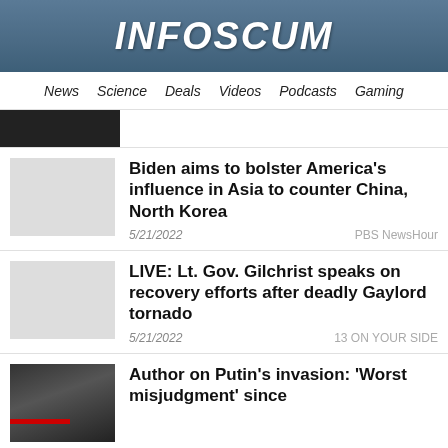INFOSCUM
News  Science  Deals  Videos  Podcasts  Gaming
Biden aims to bolster America's influence in Asia to counter China, North Korea
5/21/2022  PBS NewsHour
LIVE: Lt. Gov. Gilchrist speaks on recovery efforts after deadly Gaylord tornado
5/21/2022  13 ON YOUR SIDE
Author on Putin's invasion: 'Worst misjudgment' since